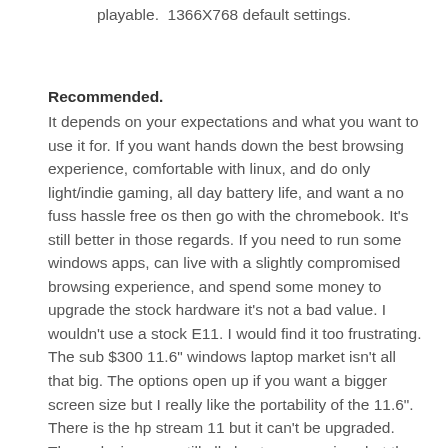playable.  1366X768 default settings.
Recommended.
It depends on your expectations and what you want to use it for. If you want hands down the best browsing experience, comfortable with linux, and do only light/indie gaming, all day battery life, and want a no fuss hassle free os then go with the chromebook. It's still better in those regards. If you need to run some windows apps, can live with a slightly compromised browsing experience, and spend some money to upgrade the stock hardware it's not a bad value. I wouldn't use a stock E11. I would find it too frustrating. The sub $300 11.6" windows laptop market isn't all that big. The options open up if you want a bigger screen size but I really like the portability of the 11.6". There is the hp stream 11 but it can't be upgraded. These devices are still all about compromises but they are getting better. My ideal